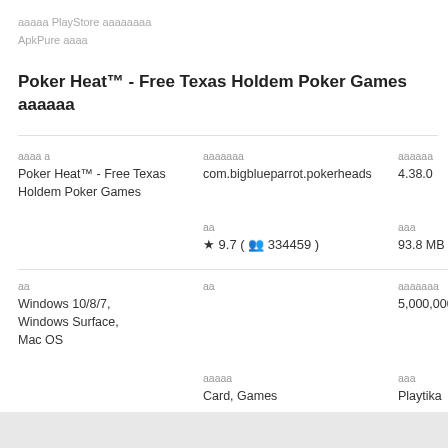ааааа PlayStore аааааааа ApkPure аааа
Poker Heat™ - Free Texas Holdem Poker Games аааааа
| аааа а | ааааааа | аааааа |
| --- | --- | --- |
| Poker Heat™ - Free Texas Holdem Poker Games | com.bigblueparrot.pokerheads | 4.38.0 |
|  | аа | ааа |
|  | ★ 9.7 ( ▲ 334459 ) | 93.8 MB |
| аа | аа | ааааааа |
| Windows 10/8/7, Windows Surface, Mac OS |  | 5,000,000+ |
|  | ааааа | ааа |
|  | Card, Games | Playtika |